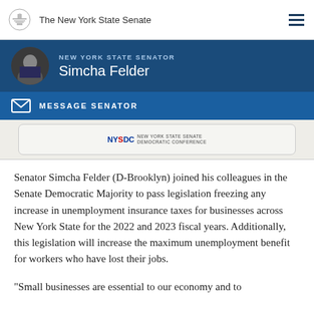The New York State Senate
NEW YORK STATE SENATOR Simcha Felder
MESSAGE SENATOR
[Figure (screenshot): A cropped form or document image at bottom showing NYSDC New York State Senate Democratic Conference logo]
Senator Simcha Felder (D-Brooklyn) joined his colleagues in the Senate Democratic Majority to pass legislation freezing any increase in unemployment insurance taxes for businesses across New York State for the 2022 and 2023 fiscal years. Additionally, this legislation will increase the maximum unemployment benefit for workers who have lost their jobs.
“Small businesses are essential to our economy and to